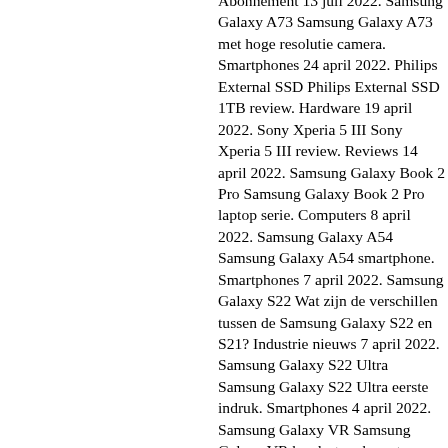Abonnement 13 juli 2022. Samsung Galaxy A73 Samsung Galaxy A73 met hoge resolutie camera. Smartphones 24 april 2022. Philips External SSD Philips External SSD 1TB review. Hardware 19 april 2022. Sony Xperia 5 III Sony Xperia 5 III review. Reviews 14 april 2022. Samsung Galaxy Book 2 Pro Samsung Galaxy Book 2 Pro laptop serie. Computers 8 april 2022. Samsung Galaxy A54 Samsung Galaxy A54 smartphone. Smartphones 7 april 2022. Samsung Galaxy S22 Wat zijn de verschillen tussen de Samsung Galaxy S22 en S21? Industrie nieuws 7 april 2022. Samsung Galaxy S22 Ultra Samsung Galaxy S22 Ultra eerste indruk. Smartphones 4 april 2022. Samsung Galaxy VR Samsung Galaxy VR headset op komst. Virtual Reality 1 april 2022.